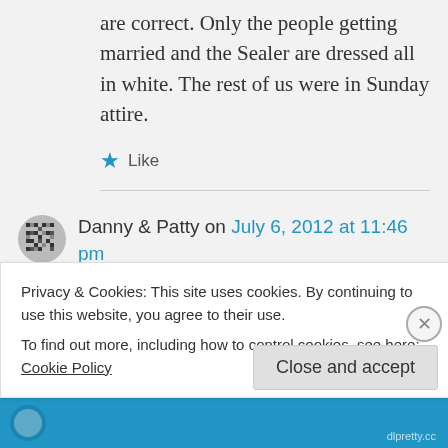are correct. Only the people getting married and the Sealer are dressed all in white. The rest of us were in Sunday attire.
Like
Danny & Patty on July 6, 2012 at 11:46 pm
👍 1 👎 0 ℹ Rate This
Privacy & Cookies: This site uses cookies. By continuing to use this website, you agree to their use.
To find out more, including how to control cookies, see here: Cookie Policy
Close and accept